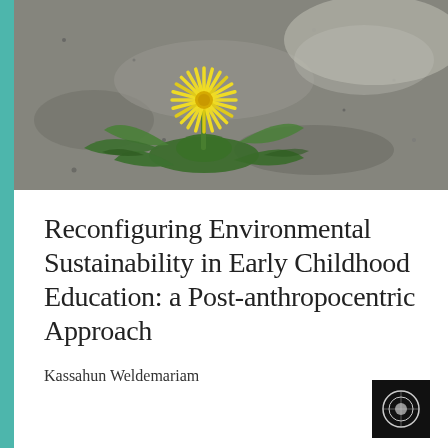[Figure (photo): A yellow dandelion flower growing through cracked asphalt pavement, with green leaves visible around it. Close-up nature photograph.]
Reconfiguring Environmental Sustainability in Early Childhood Education: a Post-anthropocentric Approach
Kassahun Weldemariam
[Figure (logo): Publisher logo: black square with a circular emblem inside]